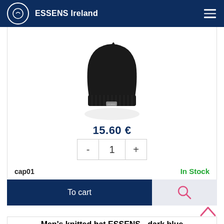ESSENS Ireland
[Figure (photo): Black knitted beanie hat with small label, photographed on white background with shadow reflection]
15.60 €
- 1 +
cap01    In Stock
To cart
Men's knitted hat ESSENS - dark blue